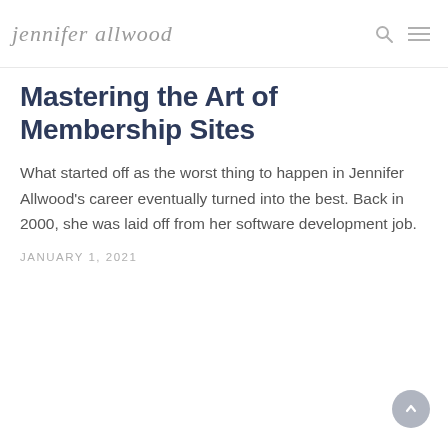jennifer allwood
Mastering the Art of Membership Sites
What started off as the worst thing to happen in Jennifer Allwood's career eventually turned into the best. Back in 2000, she was laid off from her software development job.
JANUARY 1, 2021